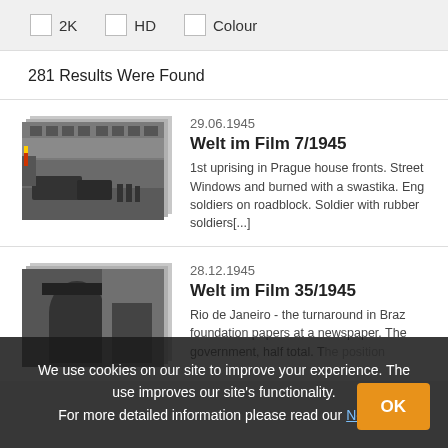2K   HD   Colour (filter checkboxes)
281 Results Were Found
[Figure (photo): Black and white film still showing a street scene with military vehicles and soldiers, stacked thumbnail style]
29.06.1945
Welt im Film 7/1945
1st uprising in Prague house fronts. Street Windows and burned with a swastika. Eng soldiers on roadblock. Soldier with rubber soldiers[...]
[Figure (photo): Black and white film still showing a person in close-up, stacked thumbnail style]
28.12.1945
Welt im Film 35/1945
Rio de Janeiro - the turnaround in Braz foundation papers at a newspaper. The government, half total. The position
We use cookies on our site to improve your experience. The use improves our site's functionality. For more detailed information please read our Notice.
OK